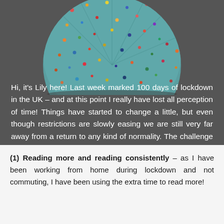[Figure (photo): Circular artwork showing a teal/turquoise surface with colorful scattered dots in red, orange, yellow, blue, and other colors on a dark gray background. Only the bottom portion of the circle is visible.]
Hi, it's Lily here! Last week marked 100 days of lockdown in the UK – and at this point I really have lost all perception of time! Things have started to change a little, but even though restrictions are slowly easing we are still very far away from a return to any kind of normality. The challenge of trying to adapt to this new normal definitely has it's ups and it's downs. But today I really wanted to share the small but important, unexpected positives that lockdown has had on my day to day life!
(1) Reading more and reading consistently – as I have been working from home during lockdown and not commuting, I have been using the extra time to read more!